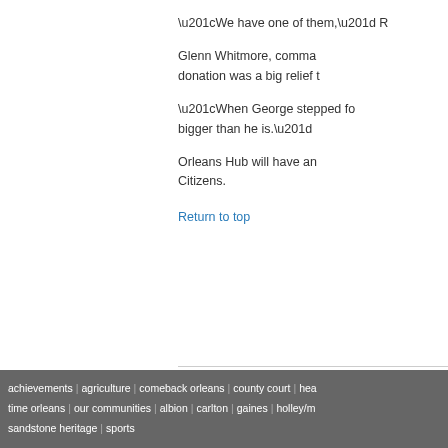“We have one of them,” R
Glenn Whitmore, comma donation was a big relief t
“When George stepped fo bigger than he is.”
Orleans Hub will have an Citizens.
Return to top
achievements | agriculture | comeback orleans | county court | hea time orleans | our communities | albion | carlton | gaines | holley/m sandstone heritage | sports